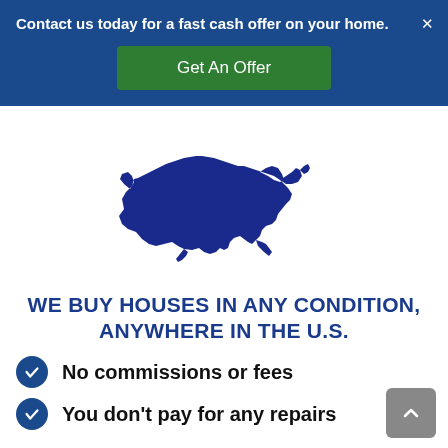Contact us today for a fast cash offer on your home.  ×
Get An Offer
[Figure (map): Solid dark navy blue silhouette of the contiguous United States map]
WE BUY HOUSES IN ANY CONDITION, ANYWHERE IN THE U.S.
No commissions or fees
You don't pay for any repairs